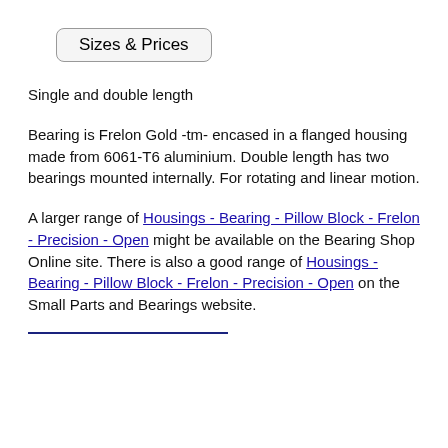[Figure (other): Button labeled 'Sizes & Prices' with rounded rectangle border]
Single and double length
Bearing is Frelon Gold -tm- encased in a flanged housing made from 6061-T6 aluminium. Double length has two bearings mounted internally. For rotating and linear motion.
A larger range of Housings - Bearing - Pillow Block - Frelon - Precision - Open might be available on the Bearing Shop Online site. There is also a good range of Housings - Bearing - Pillow Block - Frelon - Precision - Open on the Small Parts and Bearings website.